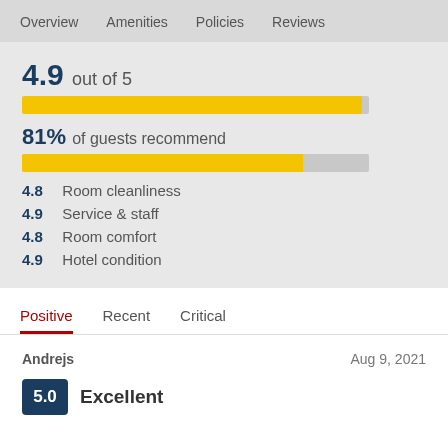Overview   Amenities   Policies   Reviews
4.9 out of 5
[Figure (infographic): Yellow horizontal progress bar nearly full (4.9 out of 5 rating bar)]
81% of guests recommend
[Figure (infographic): Yellow horizontal progress bar at 81%, with grey remainder]
4.8  Room cleanliness
4.9  Service & staff
4.8  Room comfort
4.9  Hotel condition
Positive   Recent   Critical
Andrejs
Aug 9, 2021
5.0  Excellent